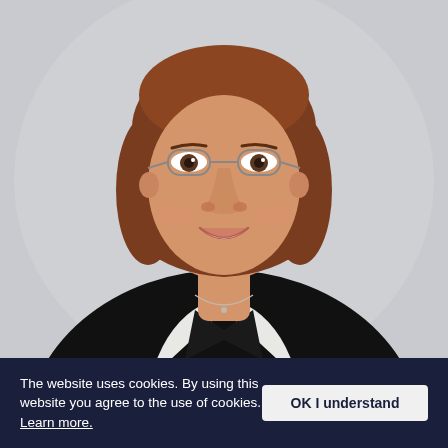[Figure (photo): Professional headshot of a woman with a chin-length auburn bob haircut, wearing thin-framed glasses, a black blazer over a white top, and a delicate necklace. She is smiling and photographed against a light grey background.]
The website uses cookies. By using this website you agree to the use of cookies. Learn more.